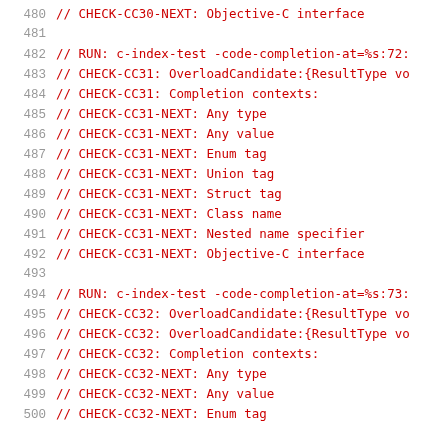480   // CHECK-CC30-NEXT: Objective-C interface
481
482   // RUN: c-index-test -code-completion-at=%s:72:
483   // CHECK-CC31: OverloadCandidate:{ResultType vo
484   // CHECK-CC31: Completion contexts:
485   // CHECK-CC31-NEXT: Any type
486   // CHECK-CC31-NEXT: Any value
487   // CHECK-CC31-NEXT: Enum tag
488   // CHECK-CC31-NEXT: Union tag
489   // CHECK-CC31-NEXT: Struct tag
490   // CHECK-CC31-NEXT: Class name
491   // CHECK-CC31-NEXT: Nested name specifier
492   // CHECK-CC31-NEXT: Objective-C interface
493
494   // RUN: c-index-test -code-completion-at=%s:73:
495   // CHECK-CC32: OverloadCandidate:{ResultType vo
496   // CHECK-CC32: OverloadCandidate:{ResultType vo
497   // CHECK-CC32: Completion contexts:
498   // CHECK-CC32-NEXT: Any type
499   // CHECK-CC32-NEXT: Any value
500   // CHECK-CC32-NEXT: Enum tag